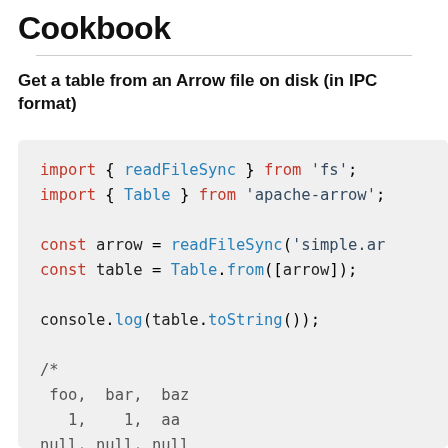Cookbook
Get a table from an Arrow file on disk (in IPC format)
[Figure (screenshot): Code block showing JavaScript code: import { readFileSync } from 'fs'; import { Table } from 'apache-arrow'; const arrow = readFileSync('simple.ar...'); const table = Table.from([arrow]); console.log(table.toString()); /* foo,  bar,  baz    1,    1,  aa null, null, null]